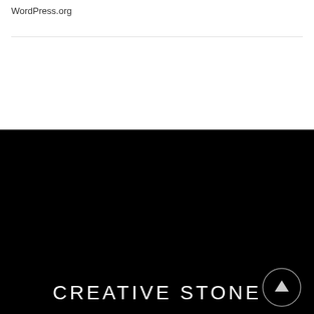WordPress.org
CREATIVE STONE
Make your project a success by partnering with Creative Stone. We provide quality granite, marble, and quartz surfaces, cabinetry, and professional expertise. During all phases of the process, from installation to maintenance, we utilize our skill and craftsmanship to ensure quality and attention to every detail.